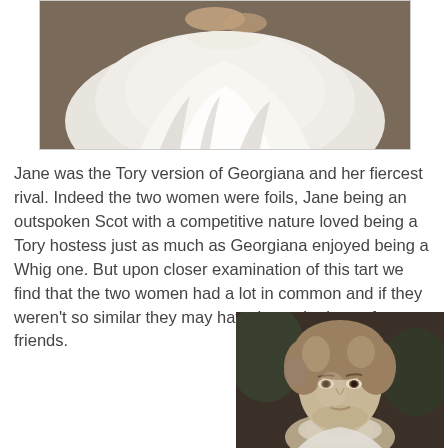[Figure (photo): Partial view of a classical portrait painting showing a figure in a white flowing dress, cropped to show the lower torso and dress only.]
Jane was the Tory version of Georgiana and her fiercest rival. Indeed the two women were foils, Jane being an outspoken Scot with a competitive nature loved being a Tory hostess just as much as Georgiana enjoyed being a Whig one. But upon closer examination of this tart we find that the two women had a lot in common and if they weren't so similar they may have been the best of friends.
[Figure (photo): Black and white portrait of a young woman with curly hair, looking toward the viewer, wearing a light garment, classical portrait style.]